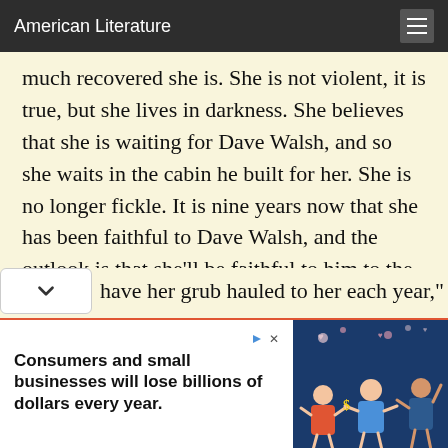American Literature
much recovered she is. She is not violent, it is true, but she lives in darkness. She believes that she is waiting for Dave Walsh, and so she waits in the cabin he built for her. She is no longer fickle. It is nine years now that she has been faithful to Dave Walsh, and the outlook is that she'll be faithful to him to the end."
Lon McFane pulled down the top of the blankets and prepared to crawl in.
have her grub hauled to her each year," he
[Figure (screenshot): Advertisement banner: 'Consumers and small businesses will lose billions of dollars every year.' with illustrated figures on right side and play/close icons.]